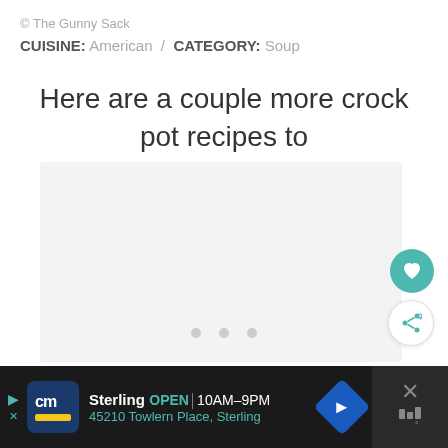© The Gunny Sack
CUISINE: American / CATEGORY: Soup
Here are a couple more crock pot recipes to try:
[Figure (photo): Image placeholder area with light gray background for crock pot recipe photo carousel with three dot navigation indicators]
Sterling OPEN 10AM-9PM 45210 Towlern Place, Sterling — advertisement banner